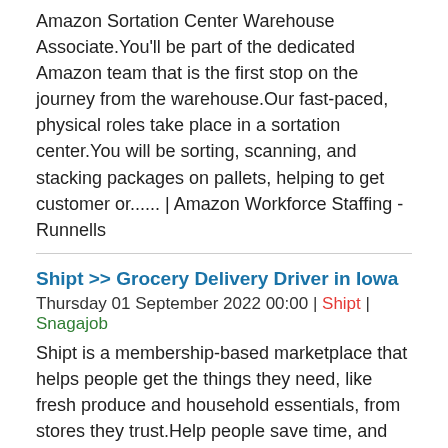Amazon Sortation Center Warehouse Associate.You'll be part of the dedicated Amazon team that is the first stop on the journey from the warehouse.Our fast-paced, physical roles take place in a sortation center.You will be sorting, scanning, and stacking packages on pallets, helping to get customer or...... | Amazon Workforce Staffing - Runnells
Shipt >> Grocery Delivery Driver in Iowa
Thursday 01 September 2022 00:00 | Shipt | Snagajob
Shipt is a membership-based marketplace that helps people get the things they need, like fresh produce and household essentials, from stores they trust.Help people save time, and have fun while you're at it there's never been a better time to join Shipt.Use the app to accept, shop, and deliver orde...... | Shipt - Altoona
Similar : Grocery Delivery Driver
Amazon Workforce Staffing >> Amazon Team Member - Flexible Scheduling around your College Classes in Iowa